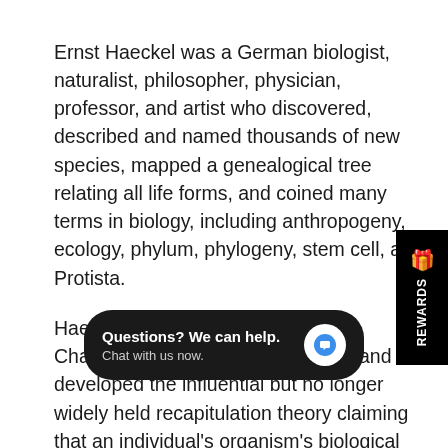Ernst Haeckel was a German biologist, naturalist, philosopher, physician, professor, and artist who discovered, described and named thousands of new species, mapped a genealogical tree relating all life forms, and coined many terms in biology, including anthropogeny, ecology, phylum, phylogeny, stem cell, and Protista.
Haeckel promoted and popularized Charles Darwin's work in Germany and developed the influential but no longer widely held recapitulation theory claiming that an individual's organism's biological development parallels and summarizes its species' evolutionary development. This vintage art print is one of many by Ernst Haeckel and makes an excellent choice for your home or office, or, as a gift for any fans of biology, or antique scientific illustration.
We offer this print in many different sizes on fine art paper, canvas (matte or
[Figure (other): Rewards sidebar button on right edge, black background with white text 'REWARDS' and gift icon]
[Figure (other): Chat overlay bubble: 'Questions? We can help. Chat with us now.' with blue chat icon on dark background]